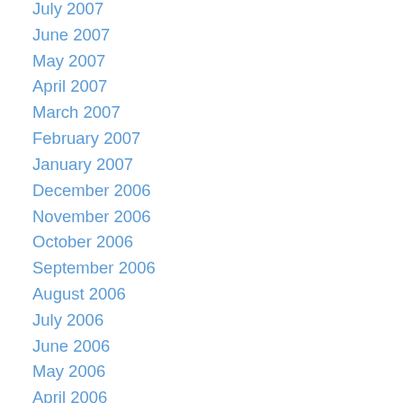July 2007
June 2007
May 2007
April 2007
March 2007
February 2007
January 2007
December 2006
November 2006
October 2006
September 2006
August 2006
July 2006
June 2006
May 2006
April 2006
March 2006
February 2006
January 2006
December 2005